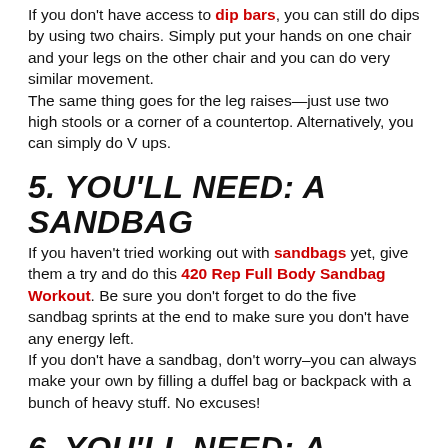If you don't have access to dip bars, you can still do dips by using two chairs. Simply put your hands on one chair and your legs on the other chair and you can do very similar movement.
The same thing goes for the leg raises—just use two high stools or a corner of a countertop. Alternatively, you can simply do V ups.
5. YOU'LL NEED: A SANDBAG
If you haven't tried working out with sandbags yet, give them a try and do this 420 Rep Full Body Sandbag Workout. Be sure you don't forget to do the five sandbag sprints at the end to make sure you don't have any energy left.
If you don't have a sandbag, don't worry–you can always make your own by filling a duffel bag or backpack with a bunch of heavy stuff. No excuses!
6. YOU'LL NEED: A MEDICINE BALL
The Fierce 12-Minute Medicine Ball Workout includes one of the best full body